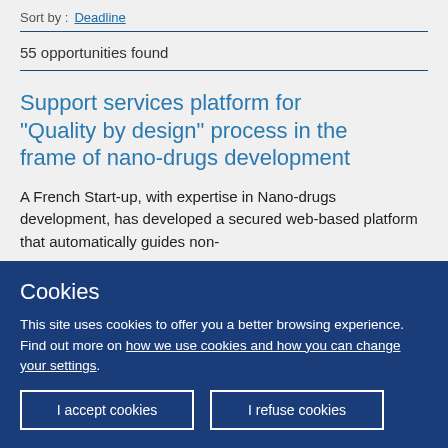Sort by : Deadline
55 opportunities found
Support services platform for "Quality by design" process in the frame of nano-drugs development
A French Start-up, with expertise in Nano-drugs development, has developed a secured web-based platform that automatically guides non-
Cookies
This site uses cookies to offer you a better browsing experience. Find out more on how we use cookies and how you can change your settings.
I accept cookies
I refuse cookies